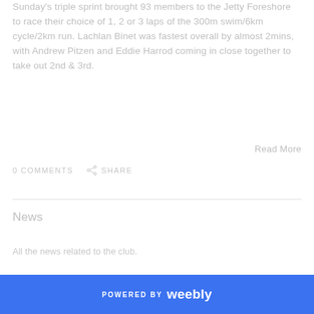Sunday's triple sprint brought 93 members to the Jetty Foreshore to race their choice of 1, 2 or 3 laps of the 300m swim/6km cycle/2km run. Lachlan Binet was fastest overall by almost 2mins, with Andrew Pitzen and Eddie Harrod coming in close together to take out 2nd & 3rd.
Read More
0 COMMENTS
SHARE
News
All the news related to the club.
POWERED BY weebly